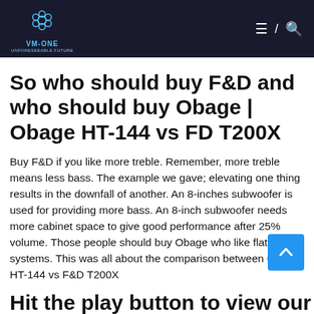VM-ONE
So who should buy F&D and who should buy Obage | Obage HT-144 vs FD T200X
Buy F&D if you like more treble. Remember, more treble means less bass. The example we gave; elevating one thing results in the downfall of another. An 8-inches subwoofer is used for providing more bass. An 8-inch subwoofer needs more cabinet space to give good performance after 25% volume. Those people should buy Obage who like flat audio systems. This was all about the comparison between Obage HT-144 vs F&D T200X
Hit the play button to view our